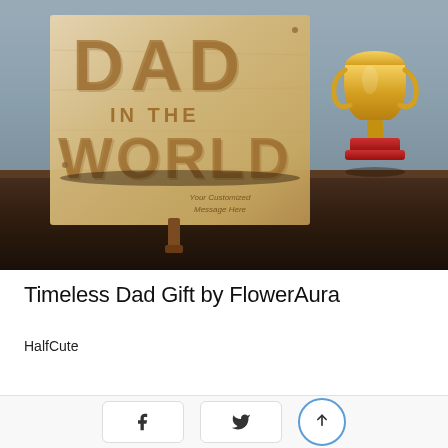[Figure (photo): A wooden laser-cut plaque reading 'DAD IN THE WORLD' with a space for a customized message, displayed next to a gold trophy on a dark wooden table. Gray background.]
Timeless Dad Gift by FlowerAura
HalfCute